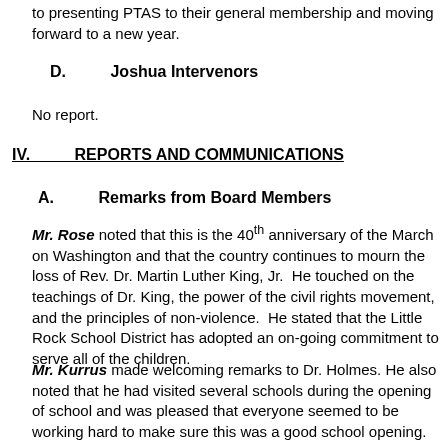to presenting PTAS to their general membership and moving forward to a new year.
D.        Joshua Intervenors
No report.
IV.        REPORTS AND COMMUNICATIONS
A.        Remarks from Board Members
Mr. Rose noted that this is the 40th anniversary of the March on Washington and that the country continues to mourn the loss of Rev. Dr. Martin Luther King, Jr.  He touched on the teachings of Dr. King, the power of the civil rights movement, and the principles of non-violence.  He stated that the Little Rock School District has adopted an on-going commitment to serve all of the children.
Mr. Kurrus made welcoming remarks to Dr. Holmes. He also noted that he had visited several schools during the opening of school and was pleased that everyone seemed to be working hard to make sure this was a good school opening.